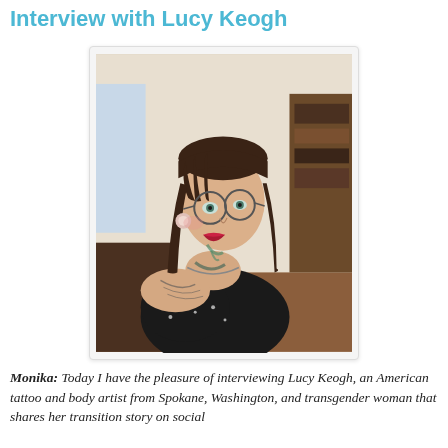Interview with Lucy Keogh
[Figure (photo): Portrait photo of Lucy Keogh, a woman with dark hair in braids and bangs, wearing round wire-frame glasses, red lipstick, large ear gauges, a chain necklace, and a black floral off-shoulder top. She has visible tattoos on her neck, chest, and shoulder. Background shows a room interior.]
Monika: Today I have the pleasure of interviewing Lucy Keogh, an American tattoo and body artist from Spokane, Washington, and transgender woman that shares her transition story on social